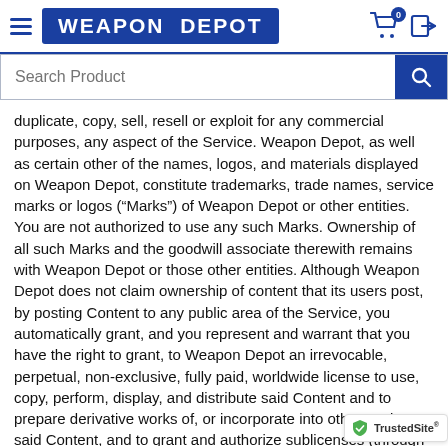WEAPON DEPOT
duplicate, copy, sell, resell or exploit for any commercial purposes, any aspect of the Service. Weapon Depot, as well as certain other of the names, logos, and materials displayed on Weapon Depot, constitute trademarks, trade names, service marks or logos (“Marks”) of Weapon Depot or other entities. You are not authorized to use any such Marks. Ownership of all such Marks and the goodwill associate therewith remains with Weapon Depot or those other entities. Although Weapon Depot does not claim ownership of content that its users post, by posting Content to any public area of the Service, you automatically grant, and you represent and warrant that you have the right to grant, to Weapon Depot an irrevocable, perpetual, non-exclusive, fully paid, worldwide license to use, copy, perform, display, and distribute said Content and to prepare derivative works of, or incorporate into other works, said Content, and to grant and authorize sublicenses (through multiple tiers) of the foregoing. Furthermore, by posting Content to any public area of the Service, you automatically grant Weap all rights necessary to prohibit any subsequent aggrega